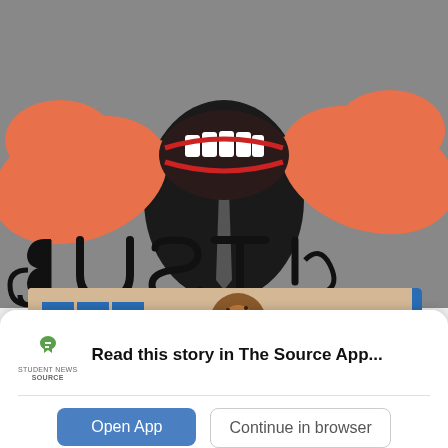[Figure (illustration): Cartoon illustration of a figure in a black suit with large orange hands pulling open their own mouth wide, with stylized text 'BUST!' written in bold black letters below on a gray background]
[Figure (screenshot): Partial screenshot of SNO (Student News Online) website showing the SNO logo in blue squares and a donut image on a tan background with a blue right border]
Read this story in The Source App...
Open App
Continue in browser